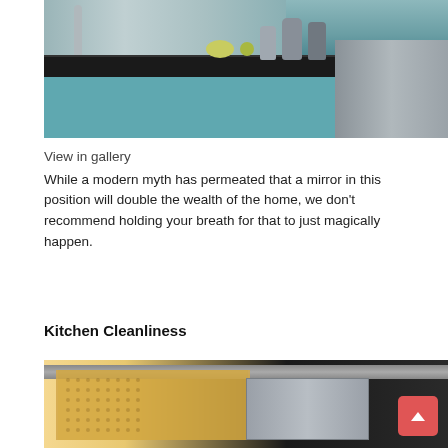[Figure (photo): Kitchen with teal/blue-green cabinets, dark granite countertop, chrome faucet, silver metallic decorative jugs and green fruits on the counter, stainless steel appliance on the right]
View in gallery
While a modern myth has permeated that a mirror in this position will double the wealth of the home, we don't recommend holding your breath for that to just magically happen.
Kitchen Cleanliness
[Figure (photo): Kitchen interior showing pegboard panel with wooden/rattan texture, metal overhead bar, stainless steel drawer unit, dark background, with a red back-to-top button overlay in the bottom right]